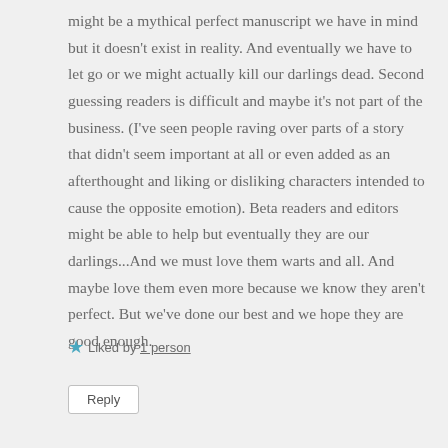might be a mythical perfect manuscript we have in mind but it doesn't exist in reality. And eventually we have to let go or we might actually kill our darlings dead. Second guessing readers is difficult and maybe it's not part of the business. (I've seen people raving over parts of a story that didn't seem important at all or even added as an afterthought and liking or disliking characters intended to cause the opposite emotion). Beta readers and editors might be able to help but eventually they are our darlings...And we must love them warts and all. And maybe love them even more because we know they aren't perfect. But we've done our best and we hope they are good enough.
Liked by 1 person
Reply